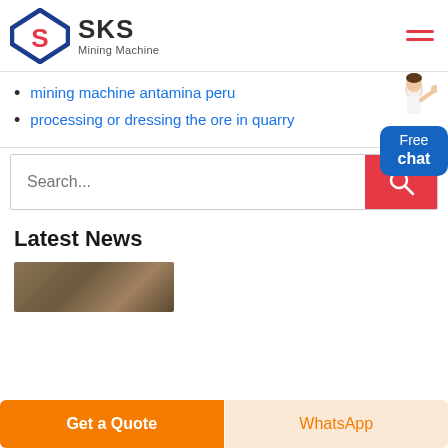[Figure (logo): SKS Mining Machine logo with blue diamond shape containing a red S, and bold brand name text]
mining machine antamina peru
processing or dressing the ore in quarry
Search...
Latest News
[Figure (photo): Partial thumbnail of a news article image showing mining/industrial equipment]
Get a Quote
WhatsApp